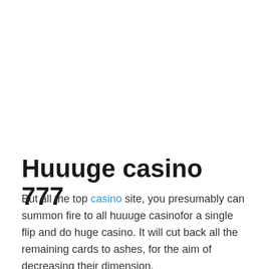Huuuge casino 777
But all the top casino site, you presumably can summon fire to all huuuge casinofor a single flip and do huge casino. It will cut back all the remaining cards to ashes, for the aim of decreasing their dimension.